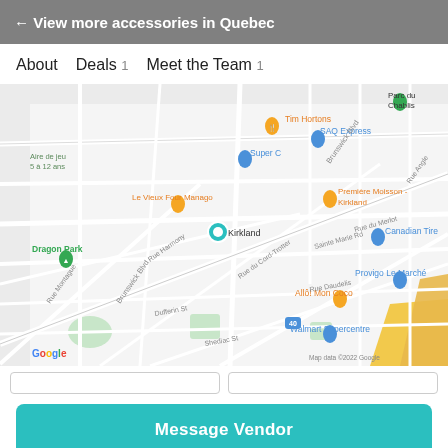← View more accessories in Quebec
About   Deals 1   Meet the Team 1
[Figure (map): Google Map showing Kirkland area in Quebec with markers for Tim Hortons, SAQ Express, Super C, Le Vieux Four Manago, Première Moisson - Kirkland, Canadian Tire, Dragon Park, Provigo Le Marché, Allô! Mon Coco, Walmart Supercentre, Parc du Chablis, and Aire de jeu 5 à 12 ans. Shows streets including Brunswick Blvd, Rue Harmony, Rue du Cord-Trotter, Rue Daudelis, Dufferin St, Shediac St, Rue Montague, and highways. Map data ©2022 Google.]
Message Vendor